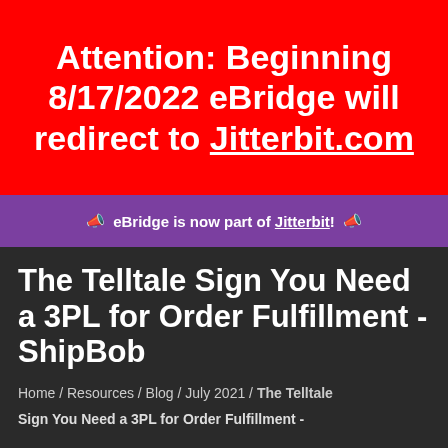Attention: Beginning 8/17/2022 eBridge will redirect to Jitterbit.com
📣 eBridge is now part of Jitterbit! 📣
The Telltale Sign You Need a 3PL for Order Fulfillment - ShipBob
Home / Resources / Blog / July 2021 / The Telltale Sign You Need a 3PL for Order Fulfillment -